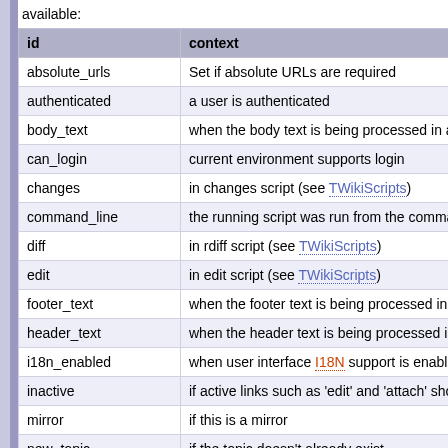available:
| id | context |
| --- | --- |
| absolute_urls | Set if absolute URLs are required |
| authenticated | a user is authenticated |
| body_text | when the body text is being processed in a v |
| can_login | current environment supports login |
| changes | in changes script (see TWikiScripts) |
| command_line | the running script was run from the comman |
| diff | in rdiff script (see TWikiScripts) |
| edit | in edit script (see TWikiScripts) |
| footer_text | when the footer text is being processed in a |
| header_text | when the header text is being processed in a |
| i18n_enabled | when user interface I18N support is enabled |
| inactive | if active links such as 'edit' and 'attach' shou |
| mirror | if this is a mirror |
| new_topic | if the topic doesn't already exist |